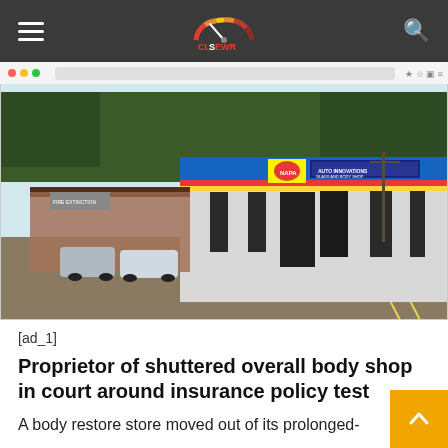CLSWR — Technology/Car (logo navigation bar)
[Figure (photo): Exterior photo of a closed auto body shop building with blue, red, and yellow signage reading 'Auto Innovations Glass and Body Shop'. The building is white stucco with dark windows, surrounded by a gravel/asphalt parking lot. Trees visible in background.]
[ad_1]
Proprietor of shuttered overall body shop in court around insurance policy test
A body restore store moved out of its prolonged-